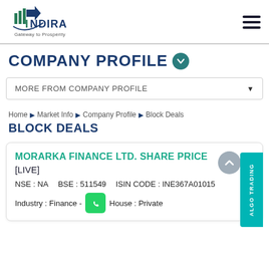[Figure (logo): Indira Securities logo with text 'NDIRA Gateway to Prosperity' and arrow/building graphic]
COMPANY PROFILE
MORE FROM COMPANY PROFILE
Home ▶ Market Info ▶ Company Profile ▶ Block Deals
BLOCK DEALS
MORARKA FINANCE LTD. SHARE PRICE [LIVE]
NSE : NA   BSE : 511549   ISIN CODE : INE367A01015
Industry : Finance -   House : Private